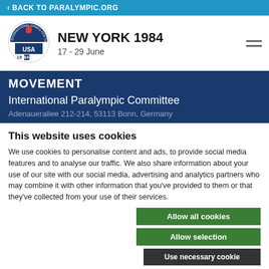BACK TO PARALYMPIC.ORG
[Figure (logo): New York 1984 International Games for the Disabled USA logo with torch]
NEW YORK 1984
17 - 29 June
MOVEMENT
International Paralympic Committee
Adenauerallee 212-214, 53113 Bonn, Germany
This website uses cookies
We use cookies to personalise content and ads, to provide social media features and to analyse our traffic. We also share information about your use of our site with our social media, advertising and analytics partners who may combine it with other information that you've provided to them or that they've collected from your use of their services.
Allow all cookies
Allow selection
Use necessary cookies
Necessary   Preferences   Statistics   Marketing   Show details